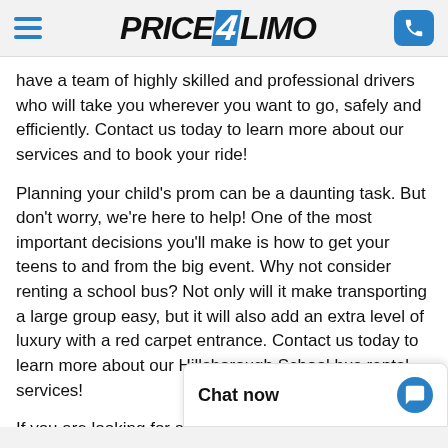PRICE4LIMO
have a team of highly skilled and professional drivers who will take you wherever you want to go, safely and efficiently. Contact us today to learn more about our services and to book your ride!
Planning your child's prom can be a daunting task. But don't worry, we're here to help! One of the most important decisions you'll make is how to get your teens to and from the big event. Why not consider renting a school bus? Not only will it make transporting a large group easy, but it will also add an extra level of luxury with a red carpet entrance. Contact us today to learn more about our Hillsborough School bus rental services!
If you are looking for a c… have party buses that ca…